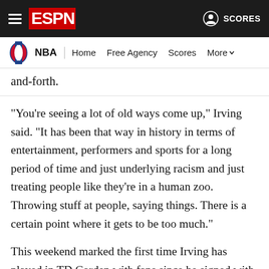ESPN — NBA | Home | Free Agency | Scores | More
and-forth.
"You're seeing a lot of old ways come up," Irving said. "It has been that way in history in terms of entertainment, performers and sports for a long period of time and just underlying racism and just treating people like they're in a human zoo. Throwing stuff at people, saying things. There is a certain point where it gets to be too much."
This weekend marked the first time Irving has played in TD Garden with fans since he signed with Brooklyn as a free agent in 2019. Before the Nets traveled to Boston, Irving -- who played for the Celtics for two seasons -- was asked how he thought he would be received by the fans in TD Garden. Irving said he hoped the fans would "just keep it strictly basketball.